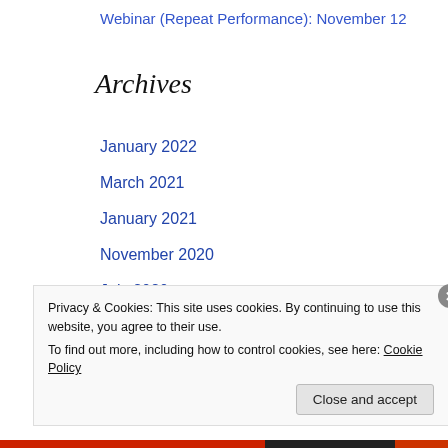Webinar (Repeat Performance): November 12
Archives
January 2022
March 2021
January 2021
November 2020
July 2020
June 2020
April 2020
Privacy & Cookies: This site uses cookies. By continuing to use this website, you agree to their use. To find out more, including how to control cookies, see here: Cookie Policy